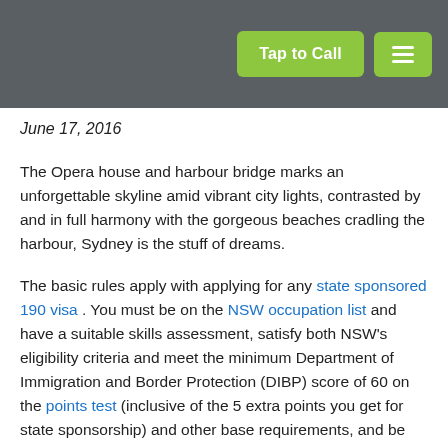Tap to Call [menu button]
June 17, 2016
The Opera house and harbour bridge marks an unforgettable skyline amid vibrant city lights, contrasted by and in full harmony with the gorgeous beaches cradling the harbour, Sydney is the stuff of dreams.
The basic rules apply with applying for any state sponsored 190 visa . You must be on the NSW occupation list and have a suitable skills assessment, satisfy both NSW's eligibility criteria and meet the minimum Department of Immigration and Border Protection (DIBP) score of 60 on the points test (inclusive of the 5 extra points you get for state sponsorship) and other base requirements, and be able